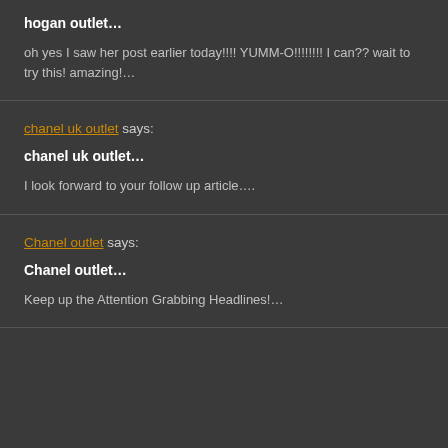hogan outlet…
oh yes I saw her post earlier today!!!! YUMM-O!!!!!!!! I can?? wait to try this! amazing!…
chanel uk outlet says:
chanel uk outlet…
I look forward to your follow up article….
Chanel outlet says:
Chanel outlet…
Keep up the Attention Grabbing Headlines!…